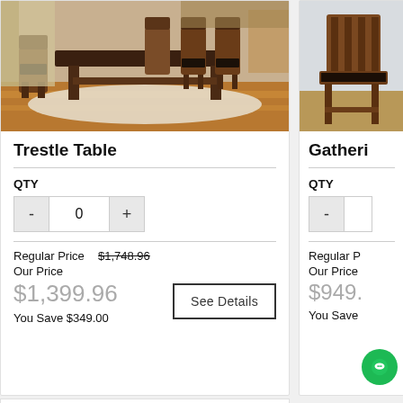[Figure (photo): Dining room set showing a large wooden trestle dining table with multiple chairs on a white rug, hardwood floor, warm interior setting]
Trestle Table
QTY
Regular Price $1,748.96
Our Price
$1,399.96
See Details
You Save $349.00
[Figure (photo): Partial view of wooden bar-height gathering chairs with dark upholstery]
Gatheri
QTY
Regular P
Our Price
$949.
You Save